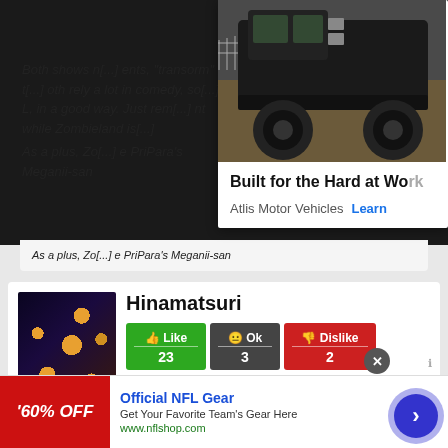[Figure (screenshot): Screenshot of a web page showing an article with dark background, overlapping ad for Atlis Motor Vehicles truck 'Built for the Hard at Work', and a Hinamatsuri anime content card with Like/Ok/Dislike buttons and a bottom NFL Gear ad banner]
Both shows need their contestants to "transform" their [...] both rely a lot in comedy, so [...], in a good way. Just rem [...] nt while Zombieland is [...]
As a plus, Zo [...] e PriPara's Meganii-san
Built for the Hard at Wo
Atlis Motor Vehicles  Learn
Hinamatsuri
Like 23
Ok 3
Dislike 2
Nitta Yoshifumi, a young, intellectual yakuza,
Official NFL Gear
Get Your Favorite Team's Gear Here
www.nflshop.com
'60% OFF